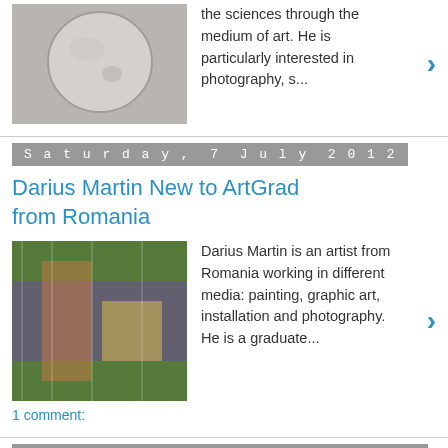the sciences through the medium of art. He is particularly interested in photography, s...
Saturday, 7 July 2012
Darius Martin New to ArtGrad from Romania
Darius Martin is an artist from Romania working in different media: painting, graphic art, installation and photography. He is a graduate...
1 comment:
Thursday, 28 June 2012
Rich Webster - New to ArtGrad today!
Rich Webster has an MA in Fine Art and majors on dealing with conceptual art which manifests itself as painting although the painting is n...